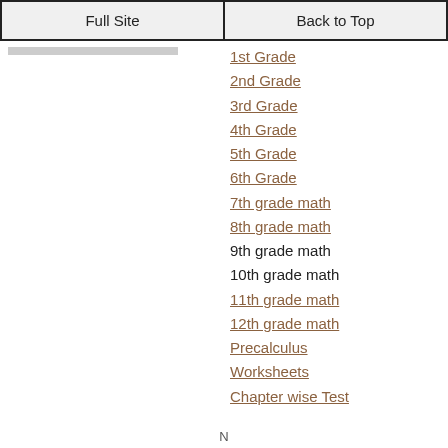Full Site | Back to Top
1st Grade
2nd Grade
3rd Grade
4th Grade
5th Grade
6th Grade
7th grade math
8th grade math
9th grade math
10th grade math
11th grade math
12th grade math
Precalculus
Worksheets
Chapter wise Test
N